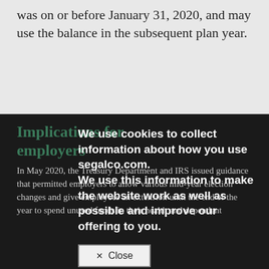was on or before January 31, 2020, and may use the balance in the subsequent plan year.
Implications for employers
In May 2020, the Treasury Department and IRS issued guidance that permitted employers to allow various mid-year election changes and give employees an extension until the end of the year to spend unused funds in their health and dependent care FSAs. You are required to adopt an amendment to your plan to take advantage of
We use cookies to collect information about how you use segalco.com. We use this information to make the website work as well as possible and improve our offering to you.
✕ Close